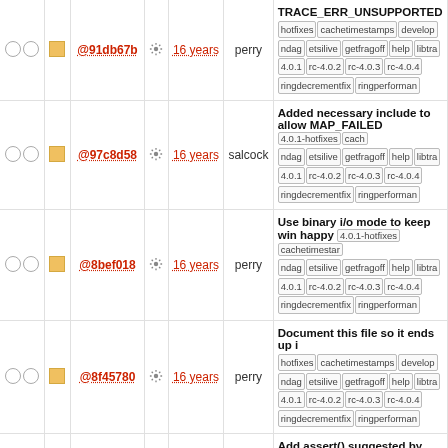|  |  | hash |  | age | author | message/tags |
| --- | --- | --- | --- | --- | --- | --- |
| ○○ | ■ | @91db67b | ⚙ | 16 years | perry | TRACE_ERR_UNSUPPORTED... hotfixes cachetimestamps develop ndag etsilive getfragoff help libtra 4.0.1 rc-4.0.2 rc-4.0.3 rc-4.0.4 ringdecrementfix ringperforman |
| ○○ | ■ | @97c8d58 | ⚙ | 16 years | salcock | Added necessary include to allow MAP_FAILED  4.0.1-hotfixes cach ndag etsilive getfragoff help libtra 4.0.1 rc-4.0.2 rc-4.0.3 rc-4.0.4 ringdecrementfix ringperforman |
| ○○ | ■ | @8bef018 | ⚙ | 16 years | perry | Use binary i/o mode to keep win happy  4.0.1-hotfixes cachetimestar ndag etsilive getfragoff help libtra 4.0.1 rc-4.0.2 rc-4.0.3 rc-4.0.4 ringdecrementfix ringperforman |
| ○○ | ■ | @8f45780 | ⚙ | 16 years | perry | Document this file so it ends up i hotfixes cachetimestamps develop ndag etsilive getfragoff help libtra 4.0.1 rc-4.0.2 rc-4.0.3 rc-4.0.4 ringdecrementfix ringperforman |
| ○○ | ■ | @dc13302 | ⚙ | 16 years | perry | Add assert() suggested by mattb traces (where ...  4.0.1-hotfixes cachetimestamps develop ndag etsilive getfragoff help libtra 4.0.1 rc-4.0.2 rc-4.0.3 rc-4.0.4 ringdecrementfix ringperforman |
| ○○ | ■ | @12778c2 | ⚙ | 16 years | perry | More commenting  4.0.1-hotfixes cachetimestamps develop ndag etsilive getfragoff help libtra 4.0.1 rc-4.0.2 rc-4.0.3 rc-4.0.4 ringdecrementfix ringperforman |
| ○○ | ■ | @e4e95499 | ⚙ | 16 years | perry | Added support for writing onto a linuxnative  4.0.1-hotfixes cachetim ndag etsilive getfragoff help libtra |